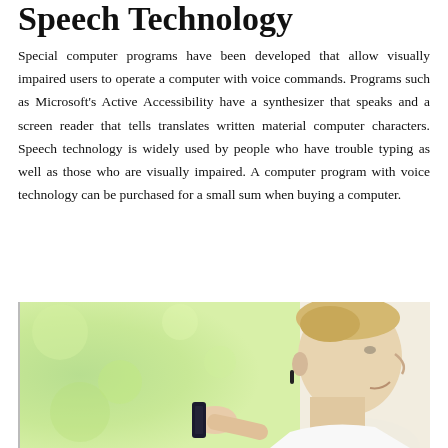Speech Technology
Special computer programs have been developed that allow visually impaired users to operate a computer with voice commands. Programs such as Microsoft’s Active Accessibility have a synthesizer that speaks and a screen reader that tells translates written material computer characters. Speech technology is widely used by people who have trouble typing as well as those who are visually impaired. A computer program with voice technology can be purchased for a small sum when buying a computer.
[Figure (photo): A young blond man in profile view holding a smartphone/device up to his mouth near a window, appearing to use voice technology. Green bokeh background visible on left.]